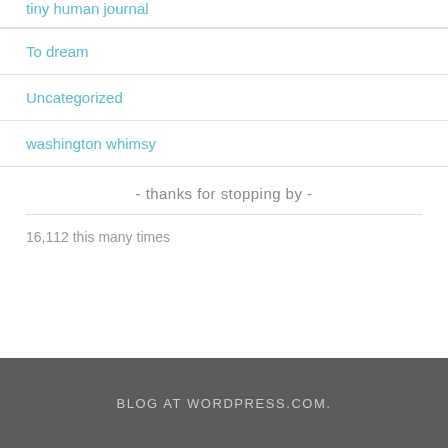tiny human journal
To dream
Uncategorized
washington whimsy
- thanks for stopping by -
16,112 this many times
BLOG AT WORDPRESS.COM.